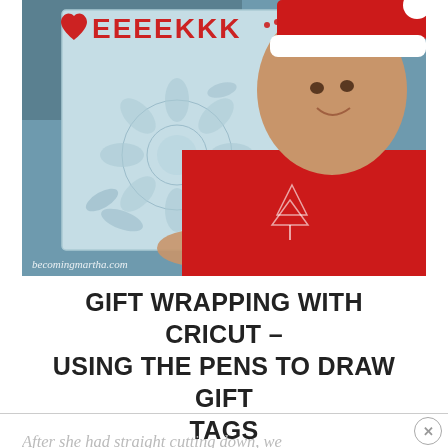[Figure (photo): A woman wearing a red Christmas sweater with a white tree emblem and a Santa hat, smiling and holding up a light blue Cricut cutting mat with a floral drawing on it. Text at top in red reads 'EEEEKKK' with a heart. Watermark at bottom left reads 'becomingmartha.com'.]
GIFT WRAPPING WITH CRICUT – USING THE PENS TO DRAW GIFT TAGS
After she had straight cutting down, we...